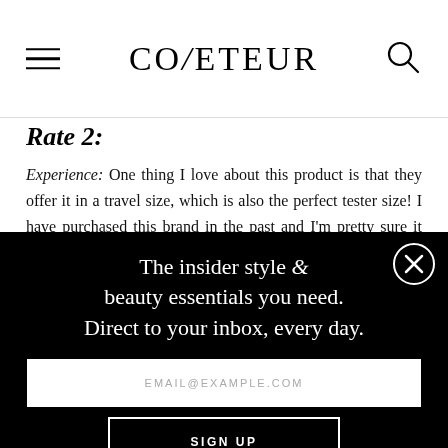COVETEUR
Rate 2:
Experience: One thing I love about this product is that they offer it in a travel size, which is also the perfect tester size! I have purchased this brand in the past and I'm pretty sure it was the first of it's kind. I'm going to
The insider style & beauty essentials you need. Direct to your inbox, every day.
EMAIL@EXAMPLE.COM
SIGN UP